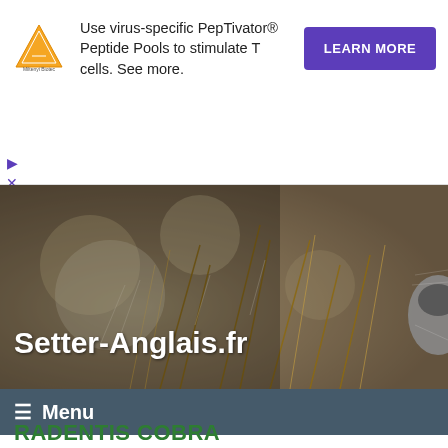[Figure (other): Advertisement banner for Miltenyi Biotec: Use virus-specific PepTivator® Peptide Pools to stimulate T cells. See more. LEARN MORE button.]
[Figure (photo): Hero background photo of dry grass/reeds in bokeh with a dog nose visible at the right edge. White bold text overlay reads Setter-Anglais.fr]
≡ Menu
RADENTIS COBRA